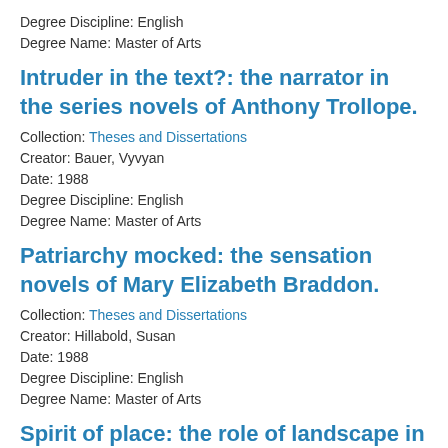Degree Discipline: English
Degree Name: Master of Arts
Intruder in the text?: the narrator in the series novels of Anthony Trollope.
Collection: Theses and Dissertations
Creator: Bauer, Vyvyan
Date: 1988
Degree Discipline: English
Degree Name: Master of Arts
Patriarchy mocked: the sensation novels of Mary Elizabeth Braddon.
Collection: Theses and Dissertations
Creator: Hillabold, Susan
Date: 1988
Degree Discipline: English
Degree Name: Master of Arts
Spirit of place: the role of landscape in the